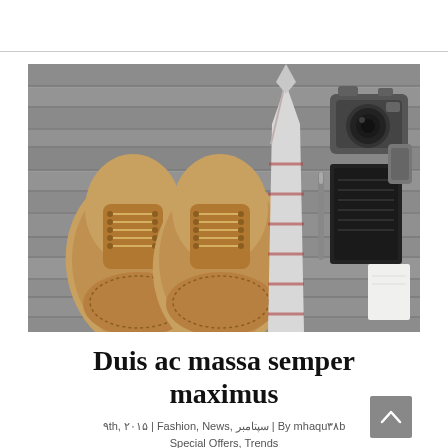[Figure (photo): Top-down flat lay of men's accessories on a grey wooden surface: a pair of tan leather brogue shoes on the left, a grey and red striped tie in the center, and a vintage film camera, notebook/planner, pen, and small card on the right.]
Duis ac massa semper maximus
۹th, ۲۰۱۵ | Fashion, News, سپتامبر | By mhaqu۳۸b Special Offers, Trends